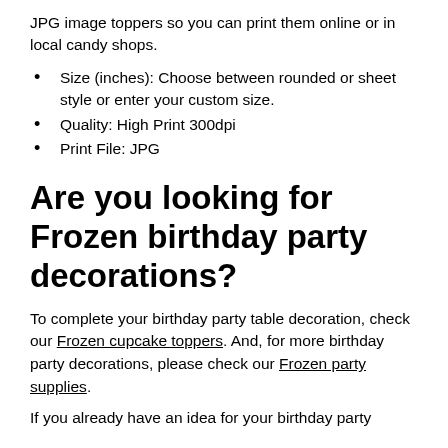JPG image toppers so you can print them online or in local candy shops.
Size (inches): Choose between rounded or sheet style or enter your custom size.
Quality: High Print 300dpi
Print File: JPG
Are you looking for Frozen birthday party decorations?
To complete your birthday party table decoration, check our Frozen cupcake toppers. And, for more birthday party decorations, please check our Frozen party supplies.
If you already have an idea for your birthday party